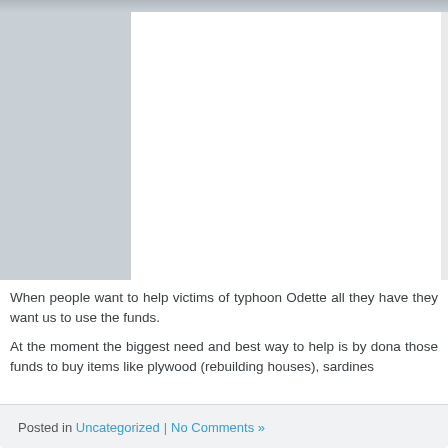[Figure (photo): Partial view of a photo at the top of the page showing a light-colored scene, with a white content area overlaid on the right portion and a gray/blue strip at the very top.]
When people want to help victims of typhoon Odette all they have they want us to use the funds.
At the moment the biggest need and best way to help is by dona those funds to buy items like plywood (rebuilding houses), sardines
Posted in Uncategorized | No Comments »